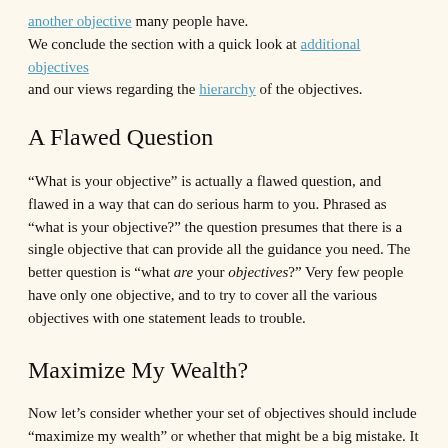another objective many people have. We conclude the section with a quick look at additional objectives and our views regarding the hierarchy of the objectives.
A Flawed Question
“What is your objective” is actually a flawed question, and flawed in a way that can do serious harm to you. Phrased as “what is your objective?” the question presumes that there is a single objective that can provide all the guidance you need. The better question is “what are your objectives?” Very few people have only one objective, and to try to cover all the various objectives with one statement leads to trouble.
Maximize My Wealth?
Now let’s consider whether your set of objectives should include “maximize my wealth” or whether that might be a big mistake. It seems logical to want to maximize one’s wealth and, indeed, many financial advisors endorse this objective. We have read: “Your objective, of course, is to maximize your wealth.” But we’re in the other camp – we believe that trying to maximize your wealth will likely be a huge mistake for you.
So what is wrong with “maximize my wealth” as an objective? First,